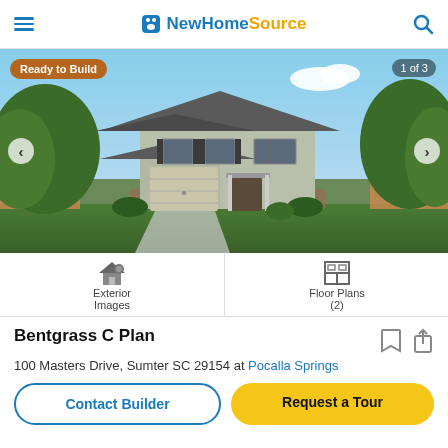NewHomeSource
[Figure (photo): Exterior photo of a two-story suburban house with gray siding, dark roof, attached two-car garage, stone accent base, front porch, surrounded by green trees and lawn. Badge reads 'Ready to Build', counter shows '1 of 3'.]
Exterior Images
Floor Plans (2)
Bentgrass C Plan
100 Masters Drive, Sumter SC 29154 at Pocalla Springs
Contact Builder
Request a Tour